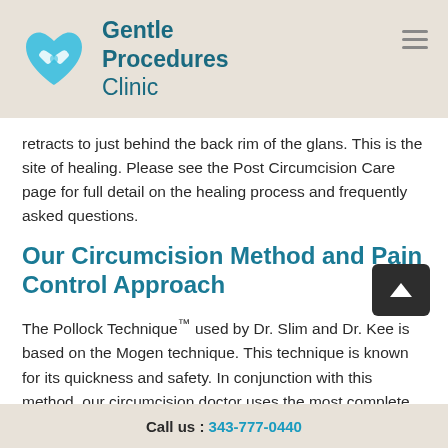Gentle Procedures Clinic
retracts to just behind the back rim of the glans. This is the site of healing. Please see the Post Circumcision Care page for full detail on the healing process and frequently asked questions.
Our Circumcision Method and Pain Control Approach
The Pollock Technique™ used by Dr. Slim and Dr. Kee is based on the Mogen technique. This technique is known for its quickness and safety. In conjunction with this method, our circumcision doctor uses the most complete and extensive pain control methods available. This ensures that your son will feel little or no pain at all. The objective of the Pollock Technique™ is to minimize stress on the infant and family via maximum pain control
Call us : 343-777-0440